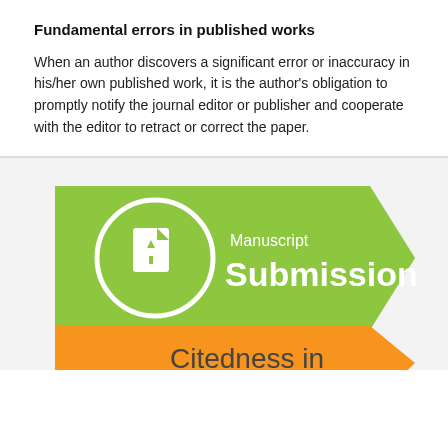Fundamental errors in published works
When an author discovers a significant error or inaccuracy in his/her own published work, it is the author's obligation to promptly notify the journal editor or publisher and cooperate with the editor to retract or correct the paper.
[Figure (infographic): Green arrow-shaped banner with document upload icon and text 'Manuscript Submission', and partially visible orange arrow-shaped banner below with text 'Citedness in Scopus']